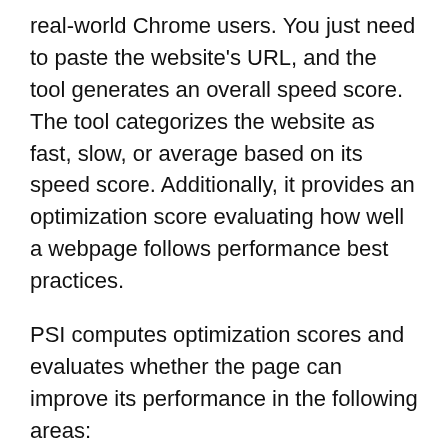real-world Chrome users. You just need to paste the website's URL, and the tool generates an overall speed score. The tool categorizes the website as fast, slow, or average based on its speed score. Additionally, it provides an optimization score evaluating how well a webpage follows performance best practices.
PSI computes optimization scores and evaluates whether the page can improve its performance in the following areas:
Time to above-the-fold load (the time it takes to render the content after the user requests it)
Time to full page load (the time it takes